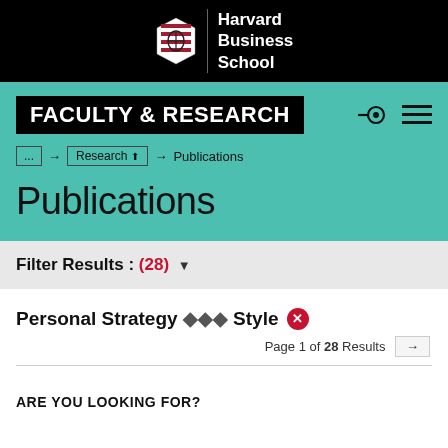Harvard Business School
FACULTY & RESEARCH
... → Research → Publications
Publications
Filter Results : (28)
Personal Strategy ◆◆◆ Style  ✕
Page 1 of 28 Results →
ARE YOU LOOKING FOR?